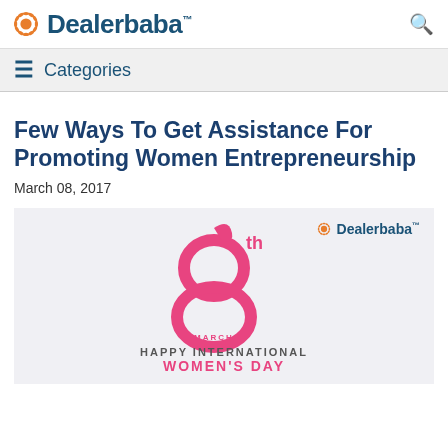Dealerbaba™
≡ Categories
Few Ways To Get Assistance For Promoting Women Entrepreneurship
March 08, 2017
[Figure (illustration): International Women's Day graphic with stylized '8th March' logo in pink featuring a woman's silhouette, Dealerbaba logo watermark, and text 'HAPPY INTERNATIONAL WOMEN'S DAY']